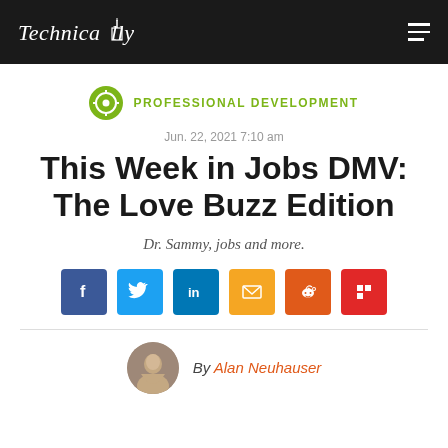Technically
PROFESSIONAL DEVELOPMENT
Jun. 22, 2021 7:10 am
This Week in Jobs DMV: The Love Buzz Edition
Dr. Sammy, jobs and more.
[Figure (infographic): Social sharing buttons: Facebook, Twitter, LinkedIn, Email, Reddit, Flipboard]
By Alan Neuhauser